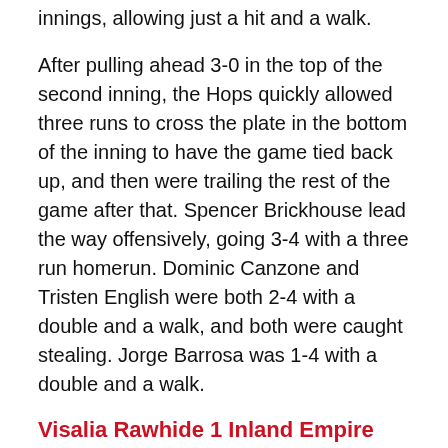innings, allowing just a hit and a walk.
After pulling ahead 3-0 in the top of the second inning, the Hops quickly allowed three runs to cross the plate in the bottom of the inning to have the game tied back up, and then were trailing the rest of the game after that. Spencer Brickhouse lead the way offensively, going 3-4 with a three run homerun. Dominic Canzone and Tristen English were both 2-4 with a double and a walk, and both were caught stealing. Jorge Barrosa was 1-4 with a double and a walk.
Visalia Rawhide 1 Inland Empire 66ers 7
Sheng-Ping Chen was the only real offense in the game for Visalia, going 2-4 with a homerun in the first inning, Alexander Hernandez and Dairon Cuevas had the only other hits in the game. Hernandez went 1-2